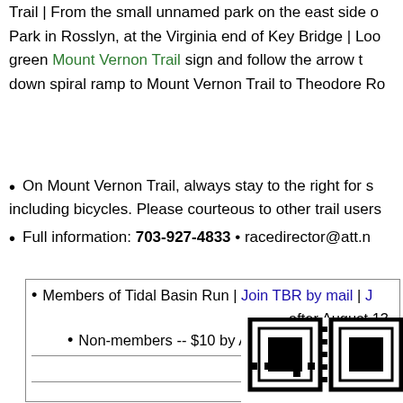Trail | From the small unnamed park on the east side o Park in Rosslyn, at the Virginia end of Key Bridge | Loo green Mount Vernon Trail sign and follow the arrow t down spiral ramp to Mount Vernon Trail to Theodore Ro
On Mount Vernon Trail, always stay to the right for s including bicycles. Please courteous to other trail users
Full information: 703-927-4833 • racedirector@att.n
Members of Tidal Basin Run | Join TBR by mail | J after August 13
Non-members -- $10 by August 1
Enter on-line
Express registrat
[Figure (other): QR code]